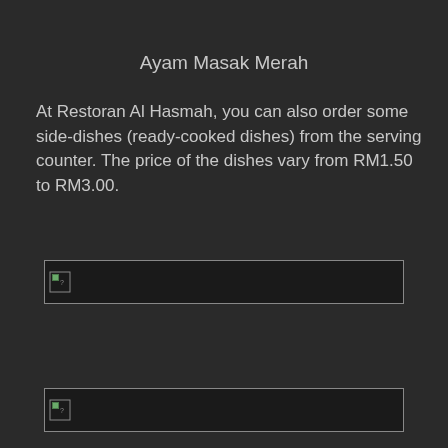Ayam Masak Merah
At Restoran Al Hasmah, you can also order some side-dishes (ready-cooked dishes) from the serving counter. The price of the dishes vary from RM1.50 to RM3.00.
[Figure (photo): Broken image placeholder (top) — food image failed to load]
[Figure (photo): Broken image placeholder (bottom) — food image failed to load]